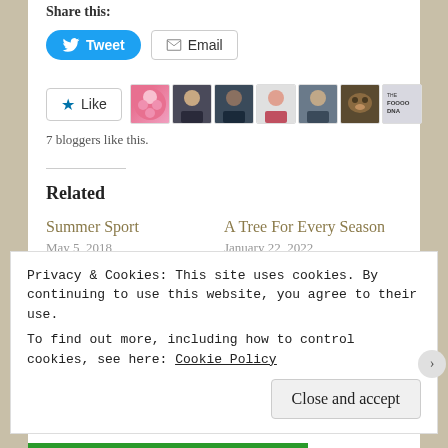Share this:
Tweet   Email
[Figure (other): Like button with star icon and 7 blogger avatar thumbnails]
7 bloggers like this.
Related
Summer Sport
May 5, 2018
In "Canadian, eh?"
A Tree For Every Season
January 22, 2022
In "Life: Scattered Thoughts & Smiles"
Pride 2021
Privacy & Cookies: This site uses cookies. By continuing to use this website, you agree to their use.
To find out more, including how to control cookies, see here: Cookie Policy
Close and accept